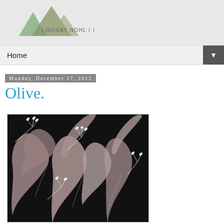[Figure (logo): Lindsay Nohl / Paper Bicycle logo with geometric triangle mountains in green and olive tones on a light grey background]
Home ▼
Monday, December 17, 2012
Olive.
[Figure (illustration): Dark botanical pattern with large olive/mauve leaves and small white flowering branches on a black background]